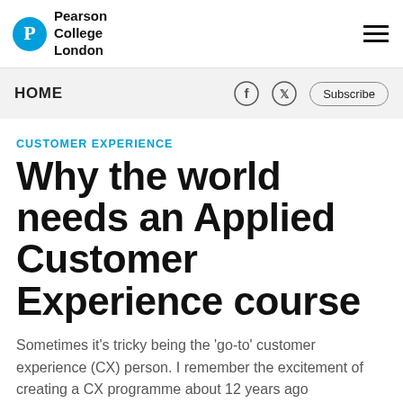Pearson College London
HOME
CUSTOMER EXPERIENCE
Why the world needs an Applied Customer Experience course
Sometimes it’s tricky being the ‘go-to’ customer experience (CX) person. I remember the excitement of creating a CX programme about 12 years ago